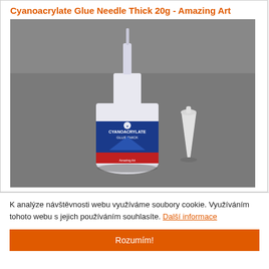Cyanoacrylate Glue Needle Thick 20g - Amazing Art
[Figure (photo): Photo of a white bottle of cyanoacrylate glue with needle applicator tip, with a detached white conical nozzle to its right, placed on a gray surface. The bottle has a blue and red label reading CYANOACRYLATE GLUE THICK with Amazing Art branding.]
20g
AA-15610
39 Kč
KOUPIT
K analýze návštěvnosti webu využíváme soubory cookie. Využíváním tohoto webu s jejich používáním souhlasíte. Další informace
Rozumím!